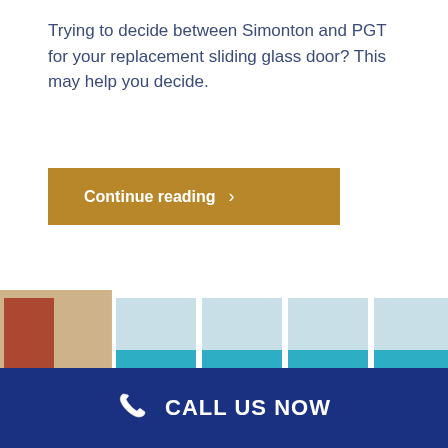Trying to decide between Simonton and PGT for your replacement sliding glass door? This may help you decide.
Continue reading >
[Figure (photo): Interior living room view with large multi-panel sliding glass doors opening to an oceanfront balcony, with turquoise ocean visible beyond the railing.]
CALL US NOW